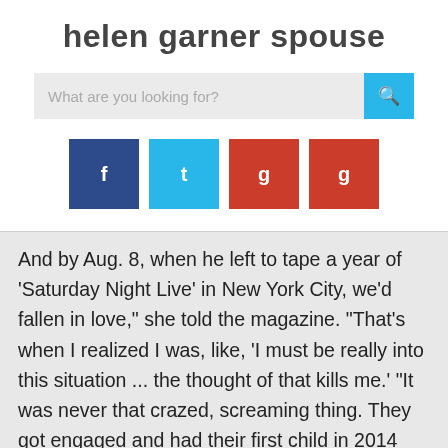helen garner spouse
[Figure (screenshot): Search bar with placeholder text 'What are you looking for?' and a cyan search button with magnifying glass icon]
[Figure (infographic): Four social media share buttons: dark blue (Facebook), cyan (Twitter), red (Google+), red (another share button)]
And by Aug. 8, when he left to tape a year of 'Saturday Night Live' in New York City, we'd fallen in love," she told the magazine. "That's when I realized I was, like, 'I must be really into this situation ... the thought of that kills me.' "It was never that crazed, screaming thing. They got engaged and had their first child in 2014 and got married in 2015. She opened for Tim on his 1996 tour -- and they fell in love, got pregnant and got married the same year. That was on Feb. 28 [when] we started talking," Patton recalled during a